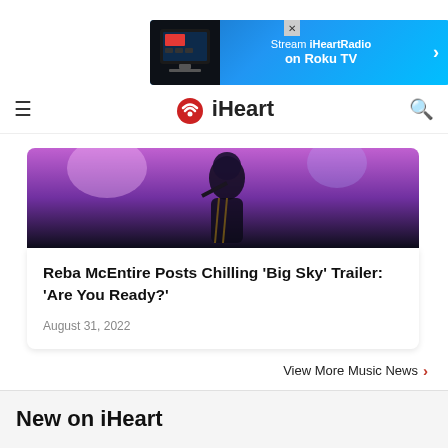[Figure (screenshot): iHeartRadio advertisement banner: Stream iHeartRadio on Roku TV with TV device image and arrow]
iHeart
[Figure (photo): Reba McEntire performing on stage with purple/magenta lighting, holding a microphone]
Reba McEntire Posts Chilling 'Big Sky' Trailer: 'Are You Ready?'
August 31, 2022
View More Music News ›
New on iHeart